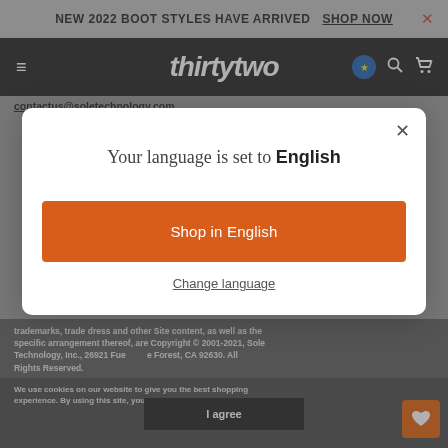NEW 2022 BOOT STYLES HAVE ARRIVED   SHOP NOW
[Figure (screenshot): ThirtyTwo brand navigation bar with hamburger menu, logo, EU flag, search, and cart icons on black background]
contactus@soletechnology.com.
Your language is set to English
Shop in English
Change language
We use cookies on our website to give you the best shopping experience. By using this site, you agree to its use of cookies.
trademarks, trade dress and other Site content, as well as the specific arrangement thereof, are Copyright © 2001-2021, Sole Technology, Inc., 26921 Fue  e Forest, CA 92630. All Rights Reserved.
I agree